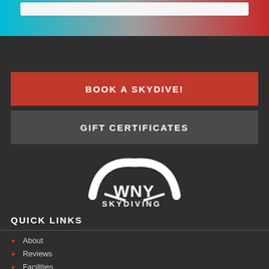[Figure (screenshot): Gradient header bar with cyan to gray to red gradient, with a white search bar at top]
[Figure (logo): WNY Skydiving logo — white parachute arc over bold white WNY SKYDIVING text on dark background]
QUICK LINKS
About
Reviews
Facilities